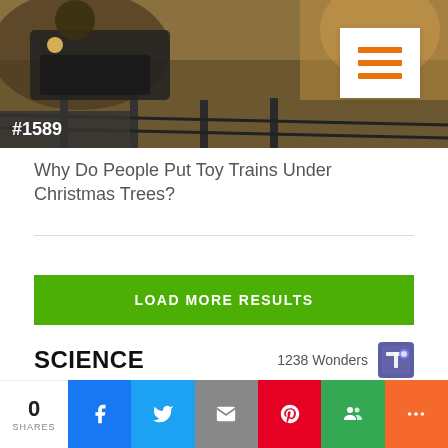[Figure (photo): Toy train on tracks near Christmas tree, with hamburger menu icon overlay and #1589 badge]
Why Do People Put Toy Trains Under Christmas Trees?
LOAD MORE RESULTS
SCIENCE   1238 Wonders
0 SHARES